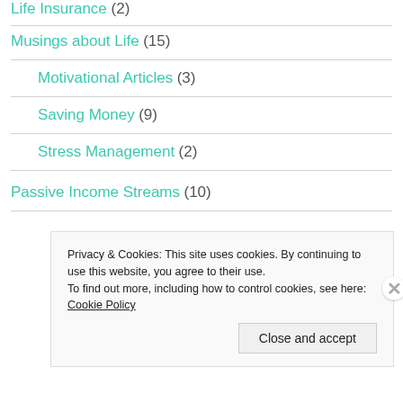Musings about Life (15)
Motivational Articles (3)
Saving Money (9)
Stress Management (2)
Passive Income Streams (10)
Privacy & Cookies: This site uses cookies. By continuing to use this website, you agree to their use.
To find out more, including how to control cookies, see here: Cookie Policy